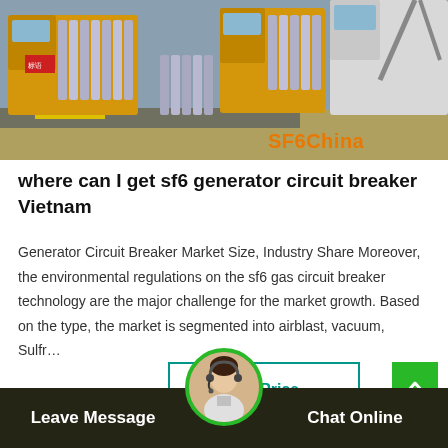[Figure (photo): Outdoor industrial scene showing yellow trucks loaded with gray gas cylinders (SF6 gas containers). Multiple cylinders arranged in rows on the ground beside the trucks. White truck visible on the right. Brown/sandy ground in the foreground. Orange SF6China watermark text in the lower right corner of the image.]
where can I get sf6 generator circuit breaker Vietnam
Generator Circuit Breaker Market Size, Industry Share Moreover, the environmental regulations on the sf6 gas circuit breaker technology are the major challenge for the market growth. Based on the type, the market is segmented into airblast, vacuum, Sulfr…
Get Price
Leave Message
Chat Online